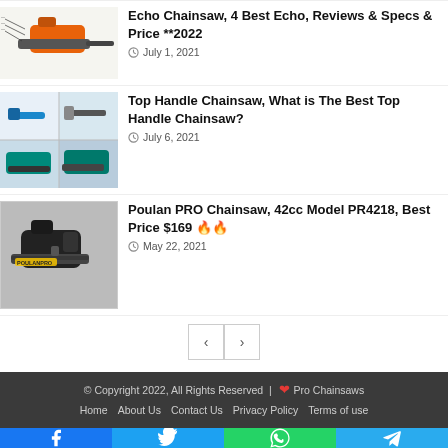[Figure (photo): Echo chainsaw product image with diagram labels]
Echo Chainsaw, 4 Best Echo, Reviews & Specs & Price **2022
July 1, 2021
[Figure (photo): 4-grid collage of top handle chainsaws (blue/teal Makita style)]
Top Handle Chainsaw, What is The Best Top Handle Chainsaw?
July 6, 2021
[Figure (photo): Poulan PRO black chainsaw product photo]
Poulan PRO Chainsaw, 42cc Model PR4218, Best Price $169 🔥🔥
May 22, 2021
© Copyright 2022, All Rights Reserved | ❤ Pro Chainsaws
Home   About Us   Contact Us   Privacy Policy   Terms of use